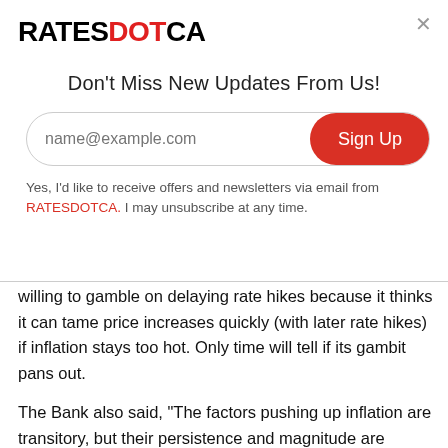RATESDOTCA
Don't Miss New Updates From Us!
Yes, I'd like to receive offers and newsletters via email from RATESDOTCA. I may unsubscribe at any time.
willing to gamble on delaying rate hikes because it thinks it can tame price increases quickly (with later rate hikes) if inflation stays too hot. Only time will tell if its gambit pans out.
The Bank also said, "The factors pushing up inflation are transitory, but their persistence and magnitude are uncertain..." Well, persistence and magnitude are everything. Everyone knows inflation won't last. All the Bank has to do is tighten monetary policy. But 3%+ core inflation that lasts more than a year, for example, would be rocket fuel for